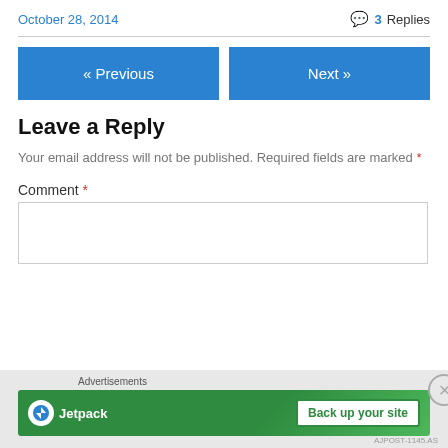October 28, 2014
3 Replies
« Previous
Next »
Leave a Reply
Your email address will not be published. Required fields are marked *
Comment *
[Figure (screenshot): Jetpack advertisement banner with 'Back up your site' button on green background]
Advertisements